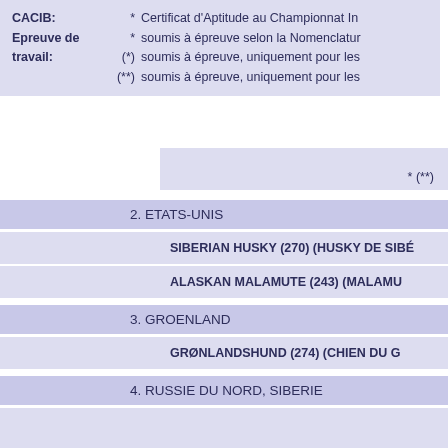CACIB: * Certificat d'Aptitude au Championnat In
Epreuve de travail: * soumis à épreuve selon la Nomenclatur
(*) soumis à épreuve, uniquement pour les
(**) soumis à épreuve, uniquement pour les
(**)
2. ETATS-UNIS
SIBERIAN HUSKY (270) (HUSKY DE SIBÉ
ALASKAN MALAMUTE (243) (MALAMU
3. GROENLAND
GRØNLANDSHUND (274) (CHIEN DU G
4. RUSSIE DU NORD, SIBERIE